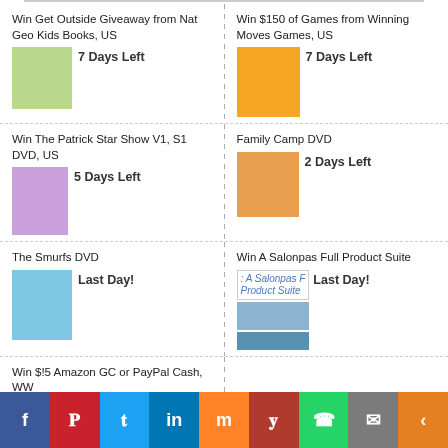Win Get Outside Giveaway from Nat Geo Kids Books, US
7 Days Left
Win $150 of Games from Winning Moves Games, US
7 Days Left
Win The Patrick Star Show V1, S1 DVD, US
5 Days Left
Family Camp DVD
2 Days Left
The Smurfs DVD
Last Day!
Win A Salonpas Full Product Suite
Last Day!
Win $!5 Amazon GC or PayPal Cash, WW
Last Day!